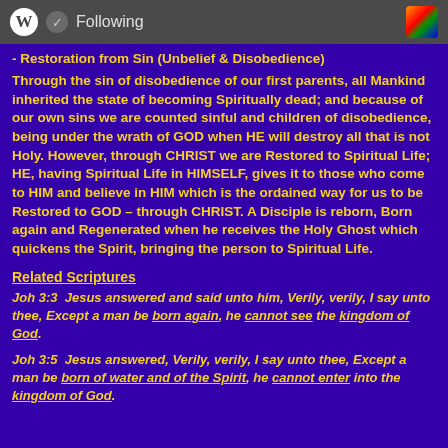Following
- Restoration from Sin (Unbelief & Disobedience)
Through the sin of disobedience of our first parents, all Mankind inherited the state of becoming Spiritually dead; and because of our own sins we are counted sinful and children of disobedience, being under the wrath of GOD when HE will destroy all that is not Holy. However, through CHRIST we are Restored to Spiritual Life; HE, having Spiritual Life in HIMSELF, gives it to those who come to HIM and believe in HIM which is the ordained way for us to be Restored to GOD – through CHRIST. A Disciple is reborn, Born again and Regenerated when he receives the Holy Ghost which quickens the Spirit, bringing the person to Spiritual Life.
Related Scriptures
Joh 3:3  Jesus answered and said unto him, Verily, verily, I say unto thee, Except a man be born again, he cannot see the kingdom of God.
Joh 3:5  Jesus answered, Verily, verily, I say unto thee, Except a man be born of water and of the Spirit, he cannot enter into the kingdom of God.